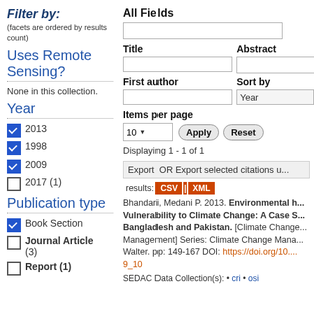Filter by:
(facets are ordered by results count)
Uses Remote Sensing?
None in this collection.
Year
✓ 2013
✓ 1998
✓ 2009
☐ 2017 (1)
Publication type
✓ Book Section
☐ Journal Article (3)
All Fields
Title
Abstract
First author
Sort by
Items per page
10 ▼
Apply   Reset
Displaying 1 - 1 of 1
Export   OR Export selected citations u... results: CSV  XML
Bhandari, Medani P. 2013. Environmental h... Vulnerability to Climate Change: A Case S... Bangladesh and Pakistan. [Climate Change... Management] Series: Climate Change Mana... Walter. pp: 149-167 DOI: https://doi.org/10... 9_10
SEDAC Data Collection(s): • cri • osi